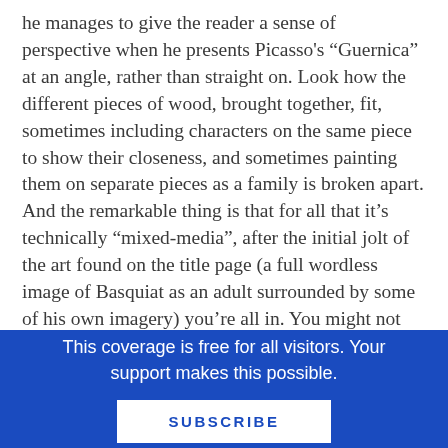he manages to give the reader a sense of perspective when he presents Picasso's “Guernica” at an angle, rather than straight on. Look how the different pieces of wood, brought together, fit, sometimes including characters on the same piece to show their closeness, and sometimes painting them on separate pieces as a family is broken apart. And the remarkable thing is that for all that it’s technically “mixed-media”, after the initial jolt of the art found on the title page (a full wordless image of Basquiat as an adult surrounded by some of his own imagery) you’re all in. You might not even notice that even the borders surrounding these pictures are found wood as well.
This coverage is free for all visitors. Your support makes this possible.
SUBSCRIBE